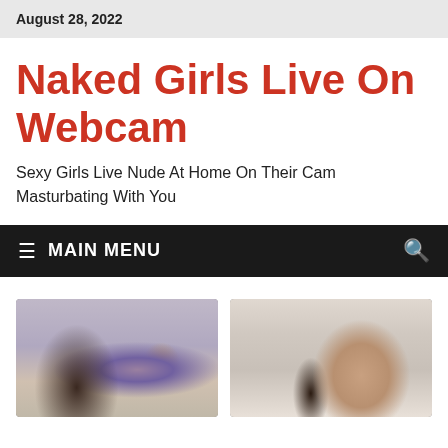August 28, 2022
Naked Girls Live On Webcam
Sexy Girls Live Nude At Home On Their Cam Masturbating With You
MAIN MENU
[Figure (photo): Two thumbnail photos side by side showing webcam content]
[Figure (photo): Second webcam thumbnail photo]